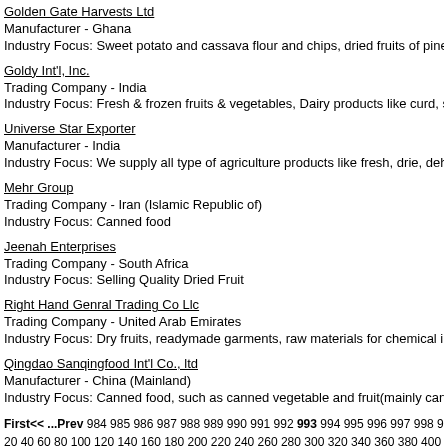Golden Gate Harvests Ltd
Manufacturer - Ghana
Industry Focus: Sweet potato and cassava flour and chips, dried fruits of pineapples, and pa
Goldy Int'l, Inc.
Trading Company - India
Industry Focus: Fresh & frozen fruits & vegetables, Dairy products like curd, sweet yoghurt, k
Universe Star Exporter
Manufacturer - India
Industry Focus: We supply all type of agriculture products like fresh, drie, dehyderated fruit, v
Mehr Group
Trading Company - Iran (Islamic Republic of)
Industry Focus: Canned food
Jeenah Enterprises
Trading Company - South Africa
Industry Focus: Selling Quality Dried Fruit
Right Hand Genral Trading Co Llc
Trading Company - United Arab Emirates
Industry Focus: Dry fruits, readymade garments, raw materials for chemical industries
Qingdao Sanqingfood Int'l Co., ltd
Manufacturer - China (Mainland)
Industry Focus: Canned food, such as canned vegetable and fruit(mainly canned asparagus)
First<< ...Prev 984 985 986 987 988 989 990 991 992 993 994 995 996 997 998 999 1000
20 40 60 80 100 120 140 160 180 200 220 240 260 280 300 320 340 360 380 400 420 440 4
0 740 760 780 800 820 840 860 880 900 920 940 960 980 1000 1020 1040 1060 1080 1100
20 1340 1360 1380 1400 1420 1440 1460 1480 1500 1520 1540 1560 1580 1600 1620 1640
Total: 53588
Home  Product Directory  Company
© 2016 Business D